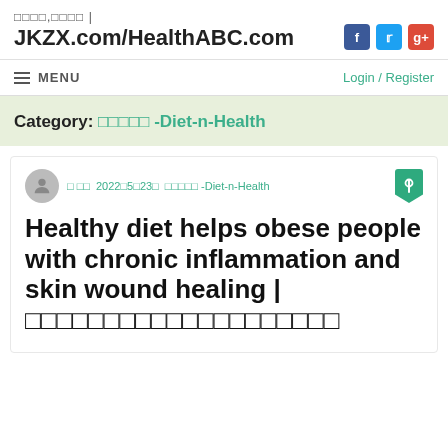□□□□,□□□□ | JKZX.com/HealthABC.com
≡ MENU    Login / Register
Category: □□□□□ -Diet-n-Health
□□  2022□5□23□  □□□□□ -Diet-n-Health
Healthy diet helps obese people with chronic inflammation and skin wound healing | □□□□□□□□□□□□□□□□□□□□